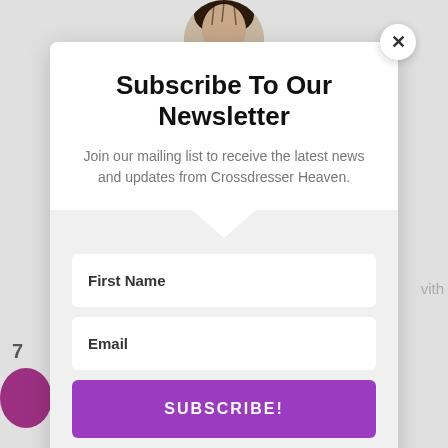[Figure (photo): Partial photo of a person at the top of the page, cropped, showing top of head with braided hair]
Subscribe To Our Newsletter
Join our mailing list to receive the latest news and updates from Crossdresser Heaven.
First Name
Email
SUBSCRIBE!
We hate spam too, unsubscribe at any time.